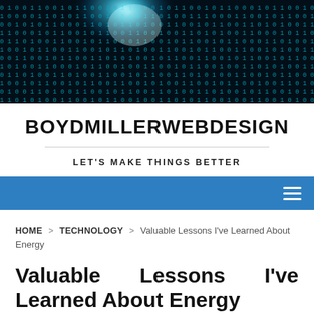[Figure (photo): Binary code tunnel with glowing cyan/blue light emanating from center, digital data stream visual]
BOYDMILLERWEBDESIGN
LET'S MAKE THINGS BETTER
Navigation bar with hamburger menu icon
HOME > TECHNOLOGY > Valuable Lessons I've Learned About Energy
Valuable Lessons I've Learned About Energy